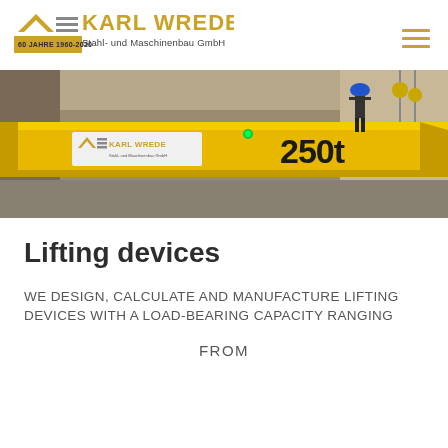[Figure (logo): Karl Wrede Stahl- und Maschinenbau GmbH logo with '60 Jahre 1960-2020' badge]
[Figure (photo): Industrial photo of a yellow overhead crane beam branded 'Karl Wrede' with '250t' load marking, a worker in safety gear visible standing on top, inside a factory/warehouse]
Lifting devices
WE DESIGN, CALCULATE AND MANUFACTURE LIFTING DEVICES WITH A LOAD-BEARING CAPACITY RANGING
FROM